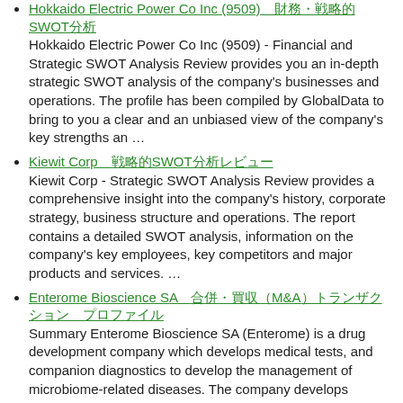Hokkaido Electric Power Co Inc (9509)　財務・戦略的SWOT分析
Hokkaido Electric Power Co Inc (9509) - Financial and Strategic SWOT Analysis Review provides you an in-depth strategic SWOT analysis of the company's businesses and operations. The profile has been compiled by GlobalData to bring to you a clear and an unbiased view of the company's key strengths an …
Kiewit Corp　戦略的SWOT分析レビュー
Kiewit Corp - Strategic SWOT Analysis Review provides a comprehensive insight into the company's history, corporate strategy, business structure and operations. The report contains a detailed SWOT analysis, information on the company's key employees, key competitors and major products and services. …
Enterome Bioscience SA　合併・買収（M&A）トランザクション　プロファイル
Summary Enterome Bioscience SA (Enterome) is a drug development company which develops medical tests, and companion diagnostics to develop the management of microbiome-related diseases. The company develops medical tests based on its metagenotype technology platform that helps to identify microbiome …
Biosilu Healthcare AG (1YA)-　合併・買収（M&A）プロファイル
Summary Biosilu Healthcare AG (Biosilu Healthcare), formerly Amp Biosimilars AG is a life science company that develops and